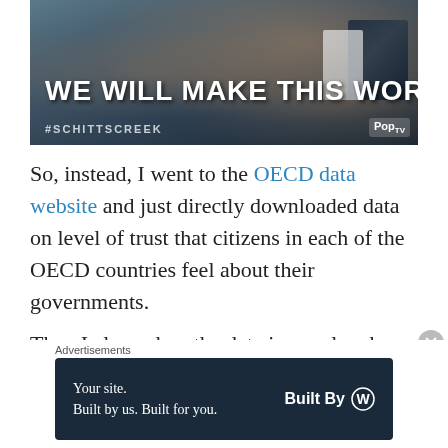[Figure (screenshot): Screenshot of a TV show clip showing people clapping, with white bold text overlay reading 'WE WILL MAKE THIS WORK!' and the hashtag #SCHITTSCREEK at the bottom left, and Pop TV logo at bottom right.]
So, instead, I went to the OECD data website and just directly downloaded data on level of trust that citizens in each of the OECD countries feel about their governments.
Then I cleaned up the data in excel and used countrycode() to add ISO2 and country name
[Figure (other): Advertisement banner: 'Your site. Built by us. Built for you.' with 'Built By WordPress' logo on dark navy background.]